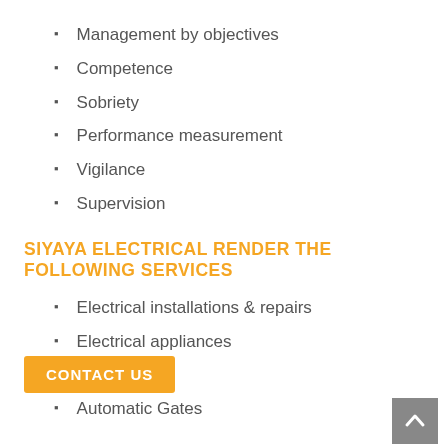Management by objectives
Competence
Sobriety
Performance measurement
Vigilance
Supervision
SIYAYA ELECTRICAL RENDER THE FOLLOWING SERVICES
Electrical installations & repairs
Electrical appliances
Refrigeration
Automatic  Gates
CONTACT US